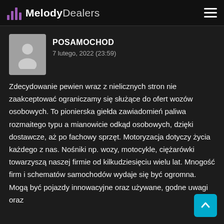MelodyDealers
POSAMOCHOD
7 lutego, 2022 (23:59)
Zdecydowanie pewien wraz z nielicznych stron nie zaakceptować ograniczamy się służące do ofert wozów osobowych. To pionierska giełda zawiadomień paliwa rozmaitego typu a mianowicie odkąd osobowych, dzięki dostawcze, aż po fachowy sprzęt. Motoryzacja dotyczy życia każdego z nas. Nośniki np. wozy, motocykle, ciężarówki towarzyszą naszej firmie od kilkudziesięciu wielu lat. Mnogość firm i schematów samochodów wydaje się być ogromna. Mogą być pojazdy innowacyjne oraz używane, godne uwagi oraz